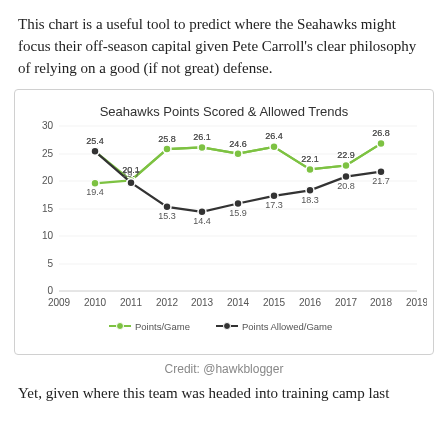This chart is a useful tool to predict where the Seahawks might focus their off-season capital given Pete Carroll's clear philosophy of relying on a good (if not great) defense.
[Figure (line-chart): Seahawks Points Scored & Allowed Trends]
Credit: @hawkblogger
Yet, given where this team was headed into training camp last